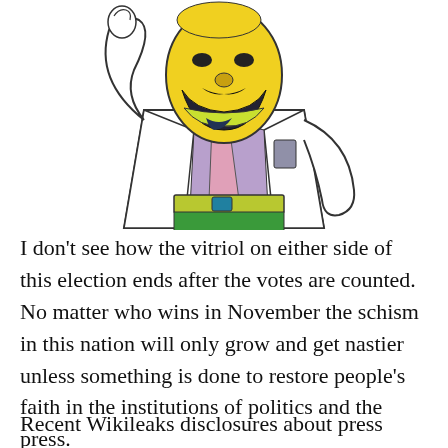[Figure (illustration): Cartoon illustration of a character wearing a white lab coat, pink tie, purple shirt, yellow head with dark beard/mustache, green pants with a yellow-green belt, with one arm raised]
I don't see how the vitriol on either side of this election ends after the votes are counted. No matter who wins in November the schism in this nation will only grow and get nastier unless something is done to restore people's faith in the institutions of politics and the press.
Recent Wikileaks disclosures about press bias,